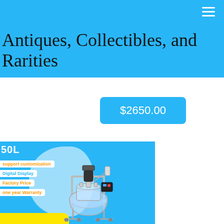Antiques, Collectibles, and Rarities
$2650.00
[Figure (photo): Product photo of a glass reactor vessel with steel frame stand, digital display controller on top, mounted in a laboratory equipment advertisement. Labels on left side read: 50L, support customization, Digital Display, Factory Price, one year Warranty. Yellow stripe at bottom.]